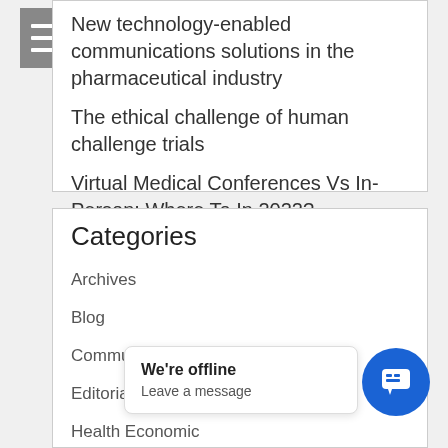New technology-enabled communications solutions in the pharmaceutical industry
The ethical challenge of human challenge trials
Virtual Medical Conferences Vs In-Person: Where To In 2022?
Categories
Archives
Blog
Communications
Editorial
Health Economic
heor.tv
[Figure (screenshot): Chat widget showing 'We're offline / Leave a message' popup with blue chat button]